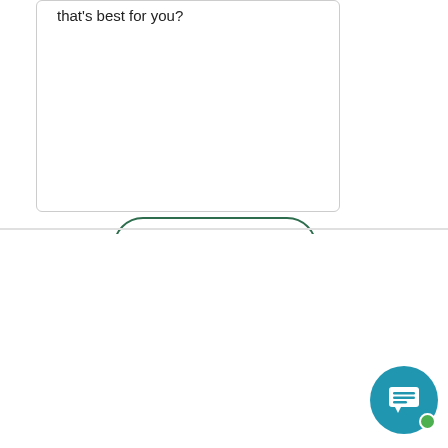that's best for you?
Learn More
NOTICE: Our website uses cookies to gather data to help create a more personalized browsing experience for you. By using our sites and apps, you agree that we may store and access cookies on your device(s). The Callaway Bank does not store any of your personal information in our cookies. Privacy Policy.
Cookie settings
ACCEPT